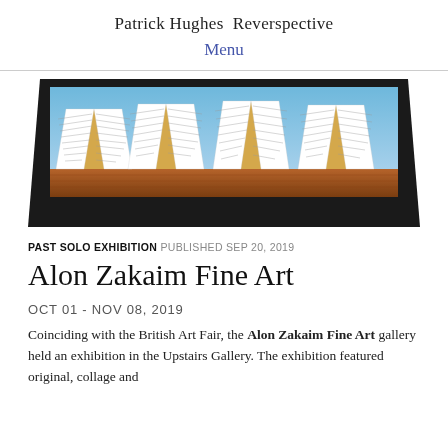Patrick Hughes Reverspective
Menu
[Figure (photo): Artwork showing multiple open music score books with zigzag pages, set on a wooden surface, framed in black — a Patrick Hughes reverspective painting.]
PAST SOLO EXHIBITION PUBLISHED SEP 20, 2019
Alon Zakaim Fine Art
OCT 01 - NOV 08, 2019
Coinciding with the British Art Fair, the Alon Zakaim Fine Art gallery held an exhibition in the Upstairs Gallery. The exhibition featured original, collage and multiple artworks by Patrick Hughes...